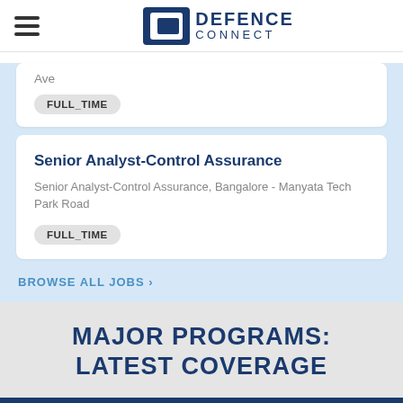DEFENCE CONNECT
Ave
FULL_TIME
Senior Analyst-Control Assurance
Senior Analyst-Control Assurance, Bangalore - Manyata Tech Park Road
FULL_TIME
BROWSE ALL JOBS >
MAJOR PROGRAMS: LATEST COVERAGE